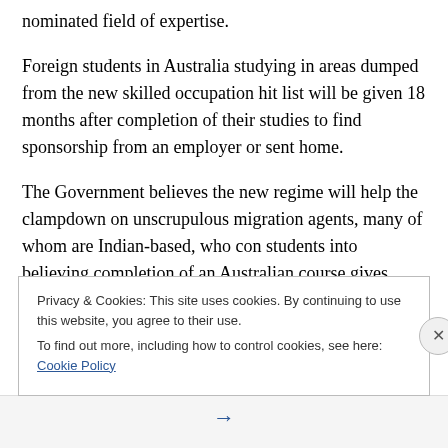nominated field of expertise.
Foreign students in Australia studying in areas dumped from the new skilled occupation hit list will be given 18 months after completion of their studies to find sponsorship from an employer or sent home.
The Government believes the new regime will help the clampdown on unscrupulous migration agents, many of whom are Indian-based, who con students into believing completion of an Australian course gives automatic
Privacy & Cookies: This site uses cookies. By continuing to use this website, you agree to their use. To find out more, including how to control cookies, see here: Cookie Policy
Close and accept